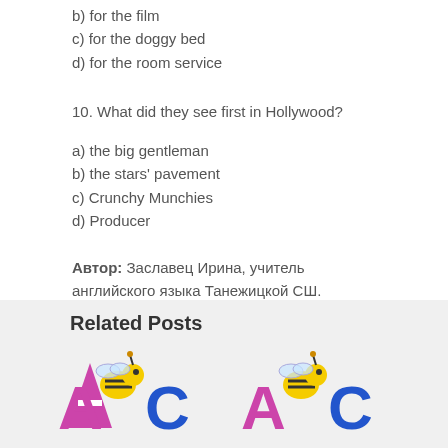b) for the film
c) for the doggy bed
d) for the room service
10. What did they see first in Hollywood?
a) the big gentleman
b) the stars' pavement
c) Crunchy Munchies
d) Producer
Автор: Заславец Ирина, учитель английского языка Танежицкой СШ.
Related Posts
[Figure (illustration): Two cartoon bee characters with colorful ABC letters, shown twice side by side at the bottom of the page]